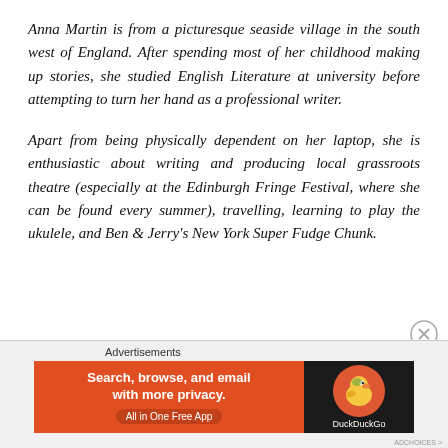Anna Martin is from a picturesque seaside village in the south west of England. After spending most of her childhood making up stories, she studied English Literature at university before attempting to turn her hand as a professional writer.
Apart from being physically dependent on her laptop, she is enthusiastic about writing and producing local grassroots theatre (especially at the Edinburgh Fringe Festival, where she can be found every summer), travelling, learning to play the ukulele, and Ben & Jerry's New York Super Fudge Chunk.
Advertisements
[Figure (other): DuckDuckGo advertisement banner: orange left panel with text 'Search, browse, and email with more privacy. All in One Free App' and dark right panel with DuckDuckGo duck logo and brand name.]